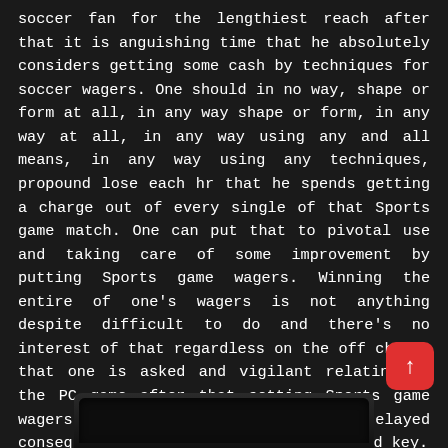soccer fan for the lengthiest reach after that it is anguishing time that he absolutely considers getting some cash by techniques for soccer wagers. One should in no way, shape or form at all, in any way shape or form, in any way at all, in any way using any and all means, in any way using any techniques, propound lose each hr that he spends getting a charge out of every single of that Sports game match. One can put that to pivotal use and taking care of some improvement by putting Sports game wagers. Winning the entire of one's wagers is not anything despite difficult to do and there's no interest of that regardless on the off chance that one is asked and vigilant relating to the PC game after that setting Sports game wagers with high probable expected delayed consequences of winning ought to be good key.
[Figure (photo): Dark/black electronic device partially visible at the bottom of the page, appears to be a gaming console or electronic equipment]